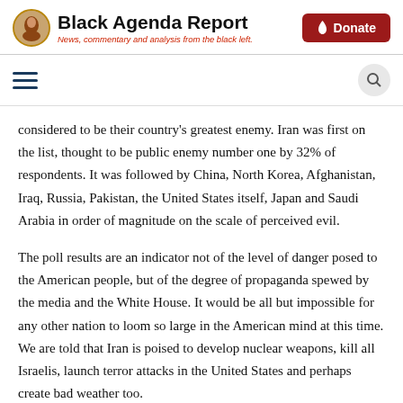Black Agenda Report — News, commentary and analysis from the black left.
considered to be their country's greatest enemy. Iran was first on the list, thought to be public enemy number one by 32% of respondents. It was followed by China, North Korea, Afghanistan, Iraq, Russia, Pakistan, the United States itself, Japan and Saudi Arabia in order of magnitude on the scale of perceived evil.
The poll results are an indicator not of the level of danger posed to the American people, but of the degree of propaganda spewed by the media and the White House. It would be all but impossible for any other nation to loom so large in the American mind at this time. We are told that Iran is poised to develop nuclear weapons, kill all Israelis, launch terror attacks in the United States and perhaps create bad weather too.
Even Americans who strive to be well informed are caught in the net of